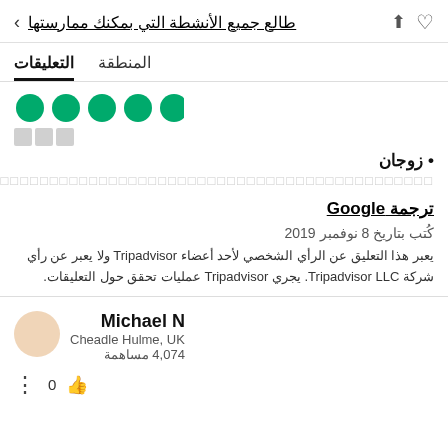طالع جميع الأنشطة التي بمكنك ممارستها
التعليقات  المنطقة
[Figure (other): Five green filled circles representing a 5-bubble TripAdvisor rating]
□□□
• زوجان
□□□□□□□□□□□□□□□□□□□□□□□□□□□□□□□□□□□□□□□□□□□□□□□□□□□
ترجمة Google
كُتب بتاريخ 8 نوفمبر 2019
يعبر هذا التعليق عن الرأي الشخصي لأحد أعضاء Tripadvisor ولا يعبر عن رأي شركة Tripadvisor LLC. يجري Tripadvisor عمليات تحقق حول التعليقات.
Michael N
Cheadle Hulme, UK
4,074 مساهمة